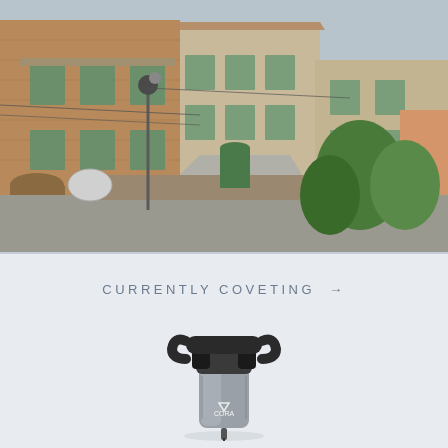[Figure (photo): Photograph of a narrow street in an Italian hill town with warm-toned stone and brick buildings, green shuttered windows, street lamps, and lush green trees on the right side under a pale sky.]
CURRENTLY COVETING →
[Figure (photo): Product photo of a Coravin wine access device (electric corkscrew/wine preservation tool), silver and dark grey in color, shown close-up from the front on a light blue-grey background.]